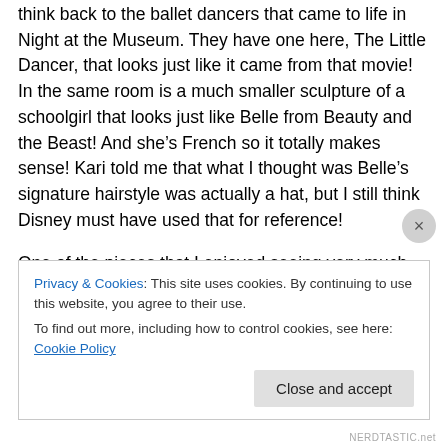think back to the ballet dancers that came to life in Night at the Museum.  They have one here, The Little Dancer, that looks just like it came from that movie!  In the same room is a much smaller sculpture of a schoolgirl that looks just like Belle from Beauty and the Beast!  And she's French so it totally makes sense!  Kari told me that what I thought was Belle's signature hairstyle was actually a hat, but I still think Disney must have used that for reference!
One of the pieces that I enjoyed seeing very much was an entire apartment bedroom that a Rockefeller stayed in while in New York. It was more...
Privacy & Cookies: This site uses cookies. By continuing to use this website, you agree to their use.
To find out more, including how to control cookies, see here: Cookie Policy
Close and accept
NERDTASTIC.net